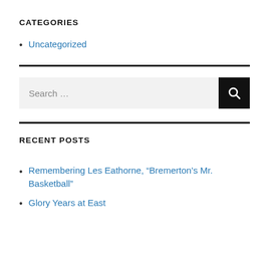CATEGORIES
Uncategorized
[Figure (other): Horizontal black divider line]
[Figure (other): Search box with text input 'Search ...' and black search button with magnifying glass icon]
[Figure (other): Horizontal black divider line]
RECENT POSTS
Remembering Les Eathorne, “Bremerton’s Mr. Basketball”
Glory Years at East